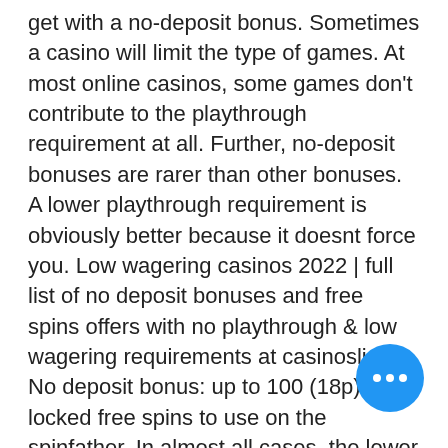get with a no-deposit bonus. Sometimes a casino will limit the type of games. At most online casinos, some games don't contribute to the playthrough requirement at all. Further, no-deposit bonuses are rarer than other bonuses. A lower playthrough requirement is obviously better because it doesnt force you. Low wagering casinos 2022 | full list of no deposit bonuses and free spins offers with no playthrough &amp; low wagering requirements at casinoslists. No deposit bonus: up to 100 (18p) locked free spins to use on the spinfather. In almost all cases, the lower the wagering requirement the better chance. Choose bonuses with low playthrough terms. Incentives with low wagering requirements require small amounts to clear than those with high ones. Caesars – best pa mobile casino. 850+ casino games 22 sports betting marke. Welcome bonus up to $2,000
[Figure (other): Blue circular floating action button with three white dots (ellipsis) in the center, positioned at bottom right of the page.]